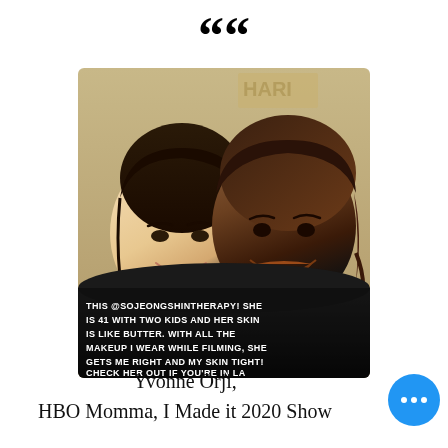““
[Figure (photo): Selfie of two women smiling. The woman on the left has lighter skin and dark hair pulled back. The woman on the right has darker skin and brown wavy hair. Both are wearing black. There is text overlaid on the lower portion of the photo reading: THIS @SOJEONGSHINTHERAPY! SHE IS 41 WITH TWO KIDS AND HER SKIN IS LIKE BUTTER. WITH ALL THE MAKEUP I WEAR WHILE FILMING, SHE GETS ME RIGHT AND MY SKIN TIGHT! CHECK HER OUT IF YOU'RE IN LA]
Yvonne Orji,
HBO Momma, I Made it 2020 Show